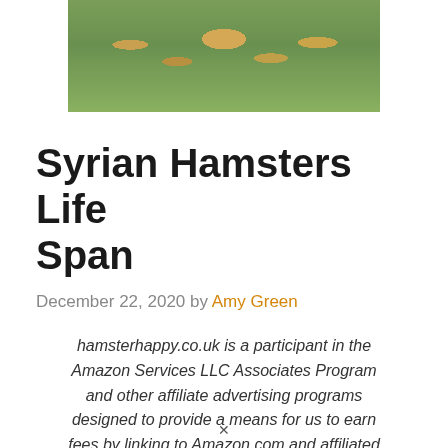[Figure (photo): Photo of hamsters on green grass, cropped at top of page]
Syrian Hamsters Life Span
December 22, 2020 by Amy Green
hamsterhappy.co.uk is a participant in the Amazon Services LLC Associates Program and other affiliate advertising programs designed to provide a means for us to earn fees by linking to Amazon.com and affiliated sites. Affiliate links may be used on this page